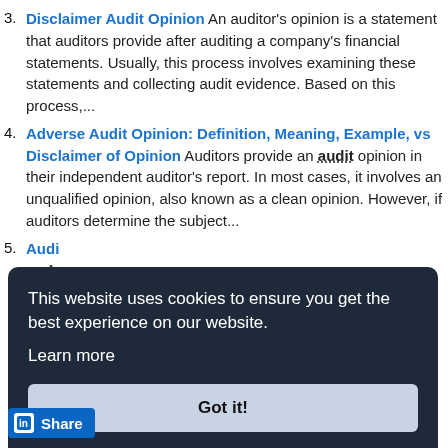3. Disclaimer Audit Opinion An auditor's opinion is a statement that auditors provide after auditing a company's financial statements. Usually, this process involves examining these statements and collecting audit evidence. Based on this process,...
4. Adverse Audit Opinion: Definition, Meaning, Example, vs Disclaimer of Opinion Auditors provide an audit opinion in their independent auditor's report. In most cases, it involves an unqualified opinion, also known as a clean opinion. However, if auditors determine the subject...
5. Audi... an A... Audi... Audi... Audi...
This website uses cookies to ensure you get the best experience on our website. Learn more
Got it!